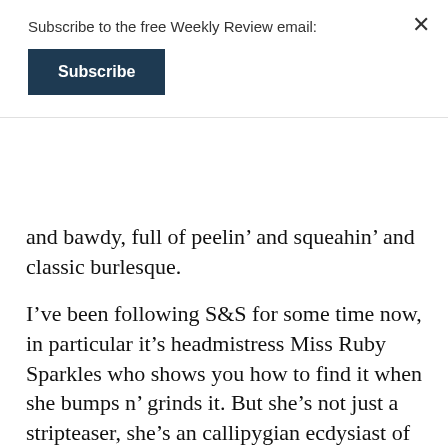Subscribe to the free Weekly Review email:
Subscribe
and bawdy, full of peelin' and squeahin' and classic burlesque.
I've been following S&S for some time now, in particular it's headmistress Miss Ruby Sparkles who shows you how to find it when she bumps n' grinds it. But she's not just a stripteaser, she's an callipygian ecdysiast of epic portions as she moves those proportions around and around and around the dancefloor. Thursday night and she had the crowd howlin'.